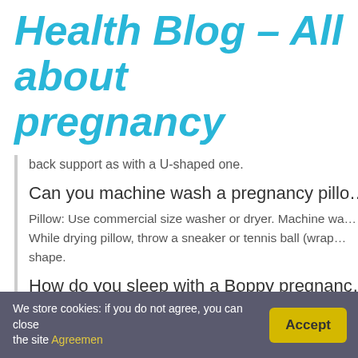Health Blog – All about pregnancy
back support as with a U-shaped one.
Can you machine wash a pregnancy pillo…
Pillow: Use commercial size washer or dryer. Machine wa… While drying pillow, throw a sneaker or tennis ball (wrap… shape.
How do you sleep with a Boppy pregnanc…
A pregnancy pillow can be used between your knees, un… discomfort. Avoid sleeping on the back. The weight of t… naturally find this position to be uncomfortable.
We store cookies: if you do not agree, you can close the site Agreemen